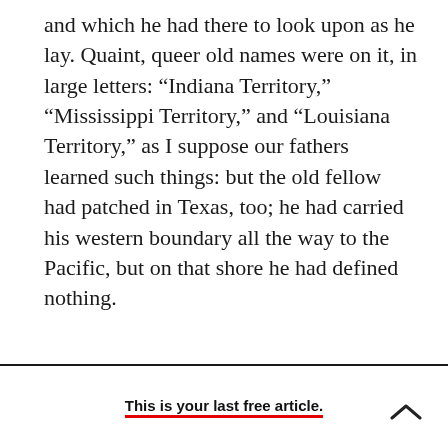and which he had there to look upon as he lay. Quaint, queer old names were on it, in large letters: “Indiana Territory,” “Mississippi Territory,” and “Louisiana Territory,” as I suppose our fathers learned such things: but the old fellow had patched in Texas, too; he had carried his western boundary all the way to the Pacific, but on that shore he had defined nothing.
This is your last free article.